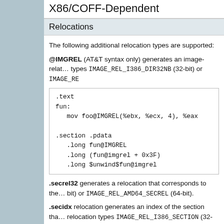X86/COFF-Dependent
Relocations
The following additional relocation types are supported:
@IMGREL (AT&T syntax only) generates an image-relative relocation types IMAGE_REL_I386_DIR32NB (32-bit) or IMAGE_RE…
.text
fun:
   mov foo@IMGREL(%ebx, %ecx, 4), %eax

.section .pdata
   .long fun@IMGREL
   .long (fun@imgrel + 0x3F)
   .long $unwind$fun@imgrel
.secrel32 generates a relocation that corresponds to the bit) or IMAGE_REL_AMD64_SECREL (64-bit).
.secidx relocation generates an index of the section tha… relocation types IMAGE_REL_I386_SECTION (32-bit) or
.section .debug$S,"n"